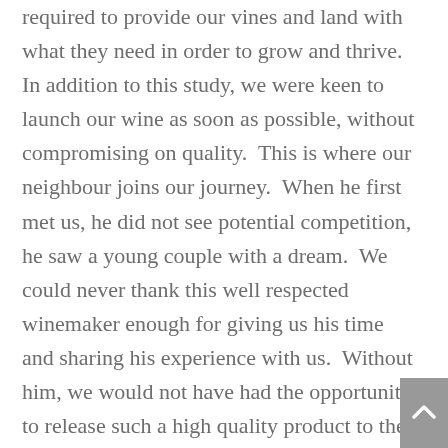required to provide our vines and land with what they need in order to grow and thrive.  In addition to this study, we were keen to launch our wine as soon as possible, without compromising on quality.  This is where our neighbour joins our journey.  When he first met us, he did not see potential competition, he saw a young couple with a dream.  We could never thank this well respected winemaker enough for giving us his time and sharing his experience with us.  Without him, we would not have had the opportunity to release such a high quality product to the market in 2017.  It is our goal to work together in order to showcase the quality of wine offered in the Manjimup and surrounding areas.  We are also passionate about proving how